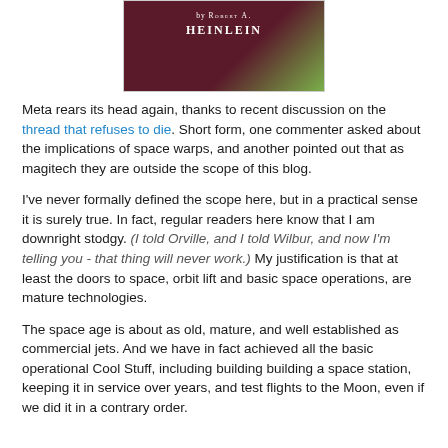[Figure (photo): Book cover image showing 'by Robert A. Heinlein' text on a dark background with green accent]
Meta rears its head again, thanks to recent discussion on the thread that refuses to die. Short form, one commenter asked about the implications of space warps, and another pointed out that as magitech they are outside the scope of this blog.
I've never formally defined the scope here, but in a practical sense it is surely true. In fact, regular readers here know that I am downright stodgy. (I told Orville, and I told Wilbur, and now I'm telling you - that thing will never work.) My justification is that at least the doors to space, orbit lift and basic space operations, are mature technologies.
The space age is about as old, mature, and well established as commercial jets. And we have in fact achieved all the basic operational Cool Stuff, including building building a space station, keeping it in service over years, and test flights to the Moon, even if we did it in a contrary order.